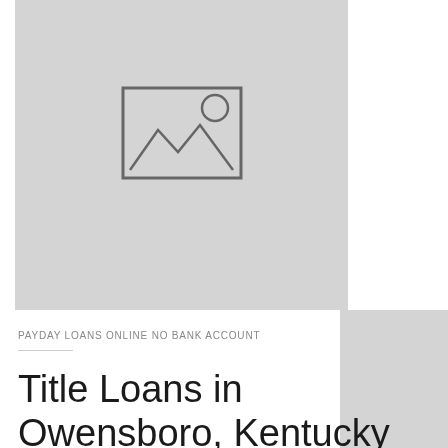[Figure (photo): Placeholder image with mountain/landscape icon on grey background]
PAYDAY LOANS ONLINE NO BANK ACCOUNT
Title Loans in Owensboro, Kentucky .Title loans serviced by...